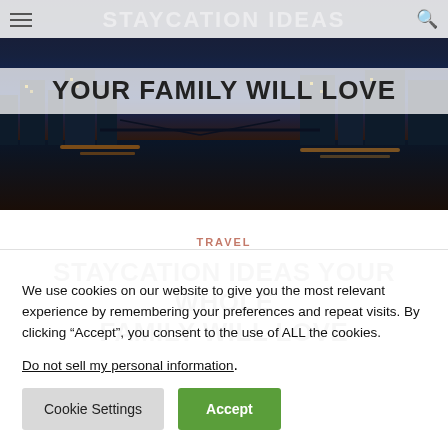[Figure (screenshot): Hero banner with city night skyline (waterfront with lights reflecting on water), overlaid with large bold white text 'STAYCATION IDEAS YOUR FAMILY WILL LOVE' on a semi-transparent white background strip]
TRAVEL
STAYCATION IDEAS YOUR WHOLE FAMILY WILL LOVE
We use cookies on our website to give you the most relevant experience by remembering your preferences and repeat visits. By clicking “Accept”, you consent to the use of ALL the cookies.
Do not sell my personal information.